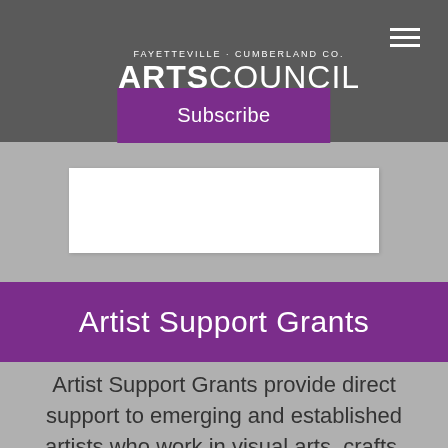[Figure (logo): Fayetteville Cumberland Co. Arts Council logo in white on dark gray background]
Subscribe
[Figure (other): Empty white content box area]
Artist Support Grants
Artist Support Grants provide direct support to emerging and established artists who work in visual arts, crafts, performing